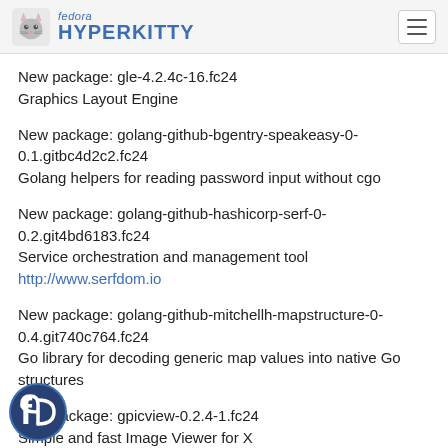fedora HYPERKITTY
New package: gle-4.2.4c-16.fc24
Graphics Layout Engine
New package: golang-github-bgentry-speakeasy-0-0.1.gitbc4d2c2.fc24
Golang helpers for reading password input without cgo
New package: golang-github-hashicorp-serf-0-0.2.git4bd6183.fc24
Service orchestration and management tool http://www.serfdom.io
New package: golang-github-mitchellh-mapstructure-0-0.4.git740c764.fc24
Go library for decoding generic map values into native Go structures
New package: gpicview-0.2.4-1.fc24
Simple and fast Image Viewer for X
New package: edb-5.6.fc24